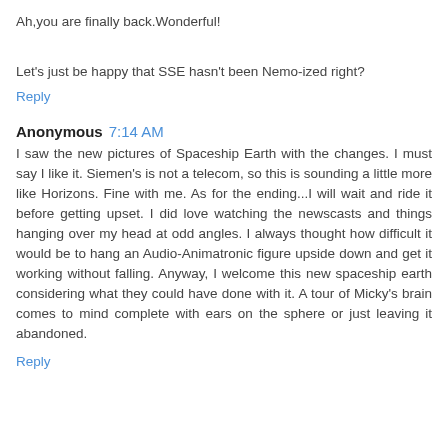Ah,you are finally back.Wonderful!
Let's just be happy that SSE hasn't been Nemo-ized right?
Reply
Anonymous  7:14 AM
I saw the new pictures of Spaceship Earth with the changes. I must say I like it. Siemen's is not a telecom, so this is sounding a little more like Horizons. Fine with me. As for the ending...I will wait and ride it before getting upset. I did love watching the newscasts and things hanging over my head at odd angles. I always thought how difficult it would be to hang an Audio-Animatronic figure upside down and get it working without falling. Anyway, I welcome this new spaceship earth considering what they could have done with it. A tour of Micky's brain comes to mind complete with ears on the sphere or just leaving it abandoned.
Reply